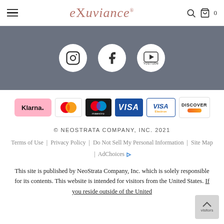exuviance
[Figure (logo): Social media icons: Instagram, Facebook, YouTube on dark grey background]
[Figure (infographic): Payment method logos: Klarna, Mastercard, Maestro, Visa, Visa Electron, Discover]
© NEOSTRATA COMPANY, INC. 2021
Terms of Use | Privacy Policy | Do Not Sell My Personal Information | Site Map | AdChoices
This site is published by NeoStrata Company, Inc. which is solely responsible for its contents. This website is intended for visitors from the United States. If you reside outside of the United